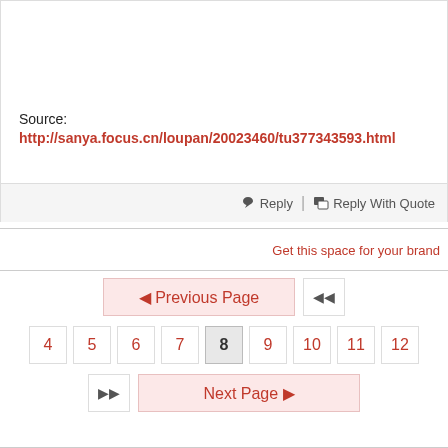Source: http://sanya.focus.cn/loupan/20023460/tu377343593.html
Reply | Reply With Quote
Get this space for your brand
◄ Previous Page  ◄◄
4  5  6  7  8  9  10  11  12
►► Next Page ►